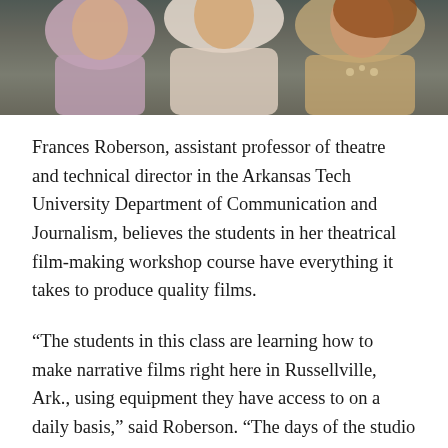[Figure (photo): Partial photograph showing people, cropped at top of page, showing torsos and faces of individuals smiling, colorful clothing visible]
Frances Roberson, assistant professor of theatre and technical director in the Arkansas Tech University Department of Communication and Journalism, believes the students in her theatrical film-making workshop course have everything it takes to produce quality films.
“The students in this class are learning how to make narrative films right here in Russellville, Ark., using equipment they have access to on a daily basis,” said Roberson. “The days of the studio system are behind us. Our students don’t have to live in New York or Los Angeles to see their cinematic visions come to life.